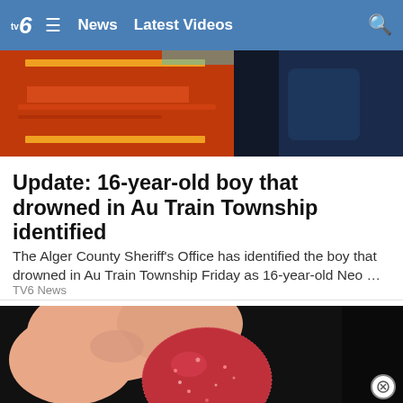TV6  ≡  News  Latest Videos  🔍
[Figure (photo): Partially visible image with orange and dark tones, appears to be a vehicle or equipment]
Update: 16-year-old boy that drowned in Au Train Township identified
The Alger County Sheriff's Office has identified the boy that drowned in Au Train Township Friday as 16-year-old Neo …
TV6 News
[Figure (photo): Close-up photo of fingers holding a red sugary candy/gummy against a dark background]